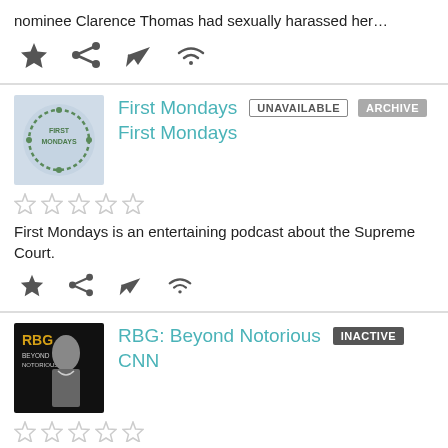nominee Clarence Thomas had sexually harassed her…
[Figure (screenshot): Row of action icons: star, share, send, wifi]
[Figure (screenshot): First Mondays podcast thumbnail with wreath logo]
First Mondays  UNAVAILABLE  ARCHIVE
First Mondays
[Figure (screenshot): Five empty star rating icons]
First Mondays is an entertaining podcast about the Supreme Court.
[Figure (screenshot): Row of action icons: star, share, send, wifi]
[Figure (screenshot): RBG: Beyond Notorious CNN podcast thumbnail]
RBG: Beyond Notorious  INACTIVE
CNN
[Figure (screenshot): Five empty star rating icons]
You don't have any episodes in your queue
Start to listen to an episode